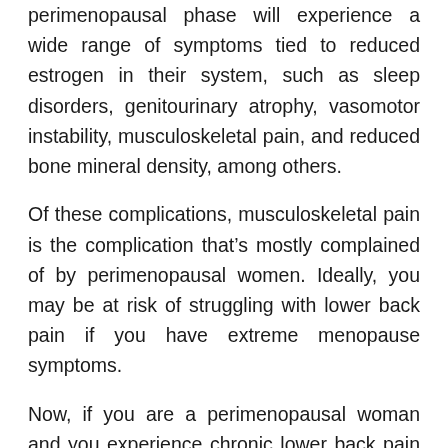perimenopausal phase will experience a wide range of symptoms tied to reduced estrogen in their system, such as sleep disorders, genitourinary atrophy, vasomotor instability, musculoskeletal pain, and reduced bone mineral density, among others.
Of these complications, musculoskeletal pain is the complication that’s mostly complained of by perimenopausal women. Ideally, you may be at risk of struggling with lower back pain if you have extreme menopause symptoms.
Now, if you are a perimenopausal woman and you experience chronic lower back pain that doesn’t seem to get better, you may need an appointment with your gynae in Singapore to help you in